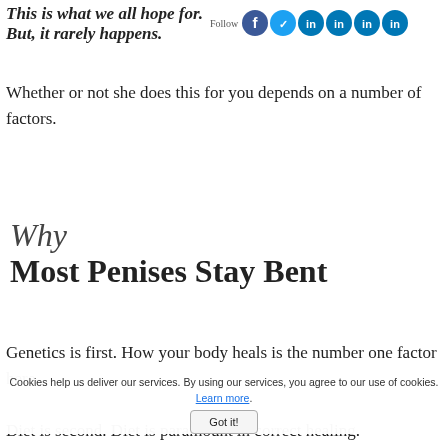This is what we all hope for. But, it rarely happens.
[Figure (logo): Social media follow bar with Facebook, Twitter, and multiple LinkedIn icons]
Whether or not she does this for you depends on a number of factors.
Why Most Penises Stay Bent
Genetics is first. How your body heals is the number one factor here.
Diet is second. Diet is paramount in correct healing.
Cookies help us deliver our services. By using our services, you agree to our use of cookies. Learn more. Got it!